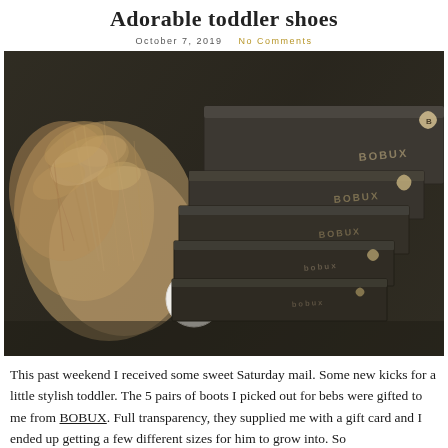Adorable toddler shoes
October 7, 2019   No Comments
[Figure (photo): Stacked dark BOBUX shoe boxes arranged on a dark wood surface, with dried pampas grass and a white decorative ball in the foreground.]
This past weekend I received some sweet Saturday mail. Some new kicks for a little stylish toddler. The 5 pairs of boots I picked out for bebs were gifted to me from BOBUX. Full transparency, they supplied me with a gift card and I ended up getting a few different sizes for him to grow into. So